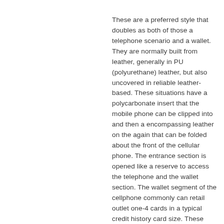These are a preferred style that doubles as both of those a telephone scenario and a wallet. They are normally built from leather, generally in PU (polyurethane) leather, but also uncovered in reliable leather-based. These situations have a polycarbonate insert that the mobile phone can be clipped into and then a encompassing leather on the again that can be folded about the front of the cellular phone. The entrance section is opened like a reserve to access the telephone and the wallet section. The wallet segment of the cellphone commonly can retail outlet one-4 cards in a typical credit history card size. These telephone cases look superior if you&rsquore on the lookout for a leather design